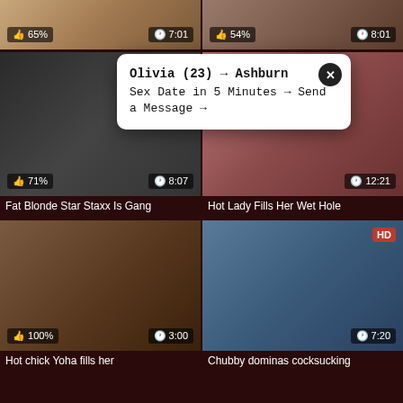[Figure (screenshot): Video thumbnail top left with 65% like badge and 7:01 duration]
[Figure (screenshot): Video thumbnail top right with 54% like badge and 8:01 duration]
[Figure (screenshot): Video thumbnail middle left with 71% like badge and 8:07 duration — Fat Blonde Star Staxx Is Gang]
[Figure (screenshot): Video thumbnail middle right with 12:21 duration — Hot Lady Fills Her Wet Hole]
Fat Blonde Star Staxx Is Gang
Hot Lady Fills Her Wet Hole
[Figure (screenshot): Video thumbnail bottom left with 100% like badge and 3:00 duration — Hot chick Yoha fills her]
[Figure (screenshot): Video thumbnail bottom right with HD badge and 7:20 duration — Chubby dominas cocksucking]
Hot chick Yoha fills her
Chubby dominas cocksucking
Olivia (23) → Ashburn
Sex Date in 5 Minutes → Send a Message →